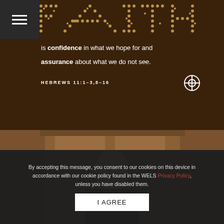[Figure (photo): Navigation menu bar with hamburger icon on dark background]
[Figure (photo): Decorative wooden sign with gold bead lettering spelling FAITH with Bible verse text: 'is confidence in what we hope for and assurance about what we do not see. HEBREWS 11:1-3,8-16' with WELS cross logo on dark wood background]
[Figure (photo): Photo of a man standing in front of wooden church doors or furniture]
By accepting this message, you consent to our cookies on this device in accordance with our cookie policy found in the WELS Privacy Policy, unless you have disabled them.
I AGREE